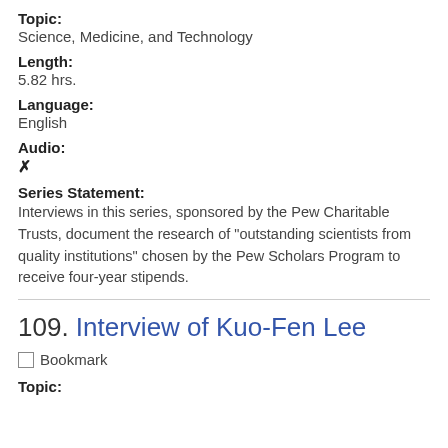Topic:
Science, Medicine, and Technology
Length:
5.82 hrs.
Language:
English
Audio:
✗
Series Statement:
Interviews in this series, sponsored by the Pew Charitable Trusts, document the research of "outstanding scientists from quality institutions" chosen by the Pew Scholars Program to receive four-year stipends.
109. Interview of Kuo-Fen Lee
☐ Bookmark
Topic: